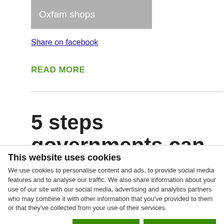[Figure (other): Oxfam shops button/banner in grey]
Share on facebook
READ MORE
5 steps governments can
This website uses cookies
We use cookies to personalise content and ads, to provide social media features and to analyse our traffic. We also share information about your use of our site with our social media, advertising and analytics partners who may combine it with other information that you've provided to them or that they've collected from your use of their services.
Allow selection | Allow all cookies | Necessary | Preferences | Statistics | Marketing | Show details